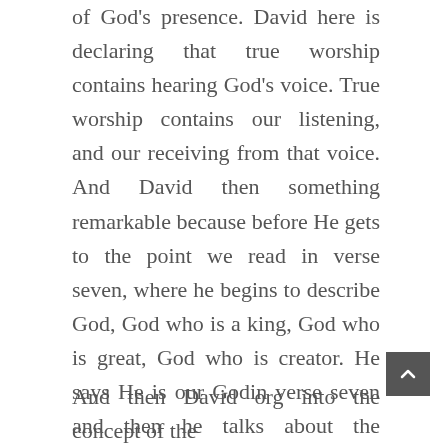of God's presence. David here is declaring that true worship contains hearing God's voice. True worship contains our listening, and our receiving from that voice. And David then something remarkable because before He gets to the point we read in verse seven, where he begins to describe God, God who is a king, God who is great, God who is creator. He says He is our Godin verse seven and then he talks about the relational aspect of the Great Shepherd and His sheep. He says: And we are the people of His Pasture and the sheep of His Hand.
And then David org into the concept of the